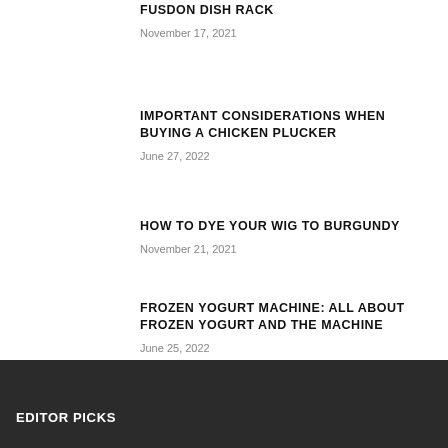FUSDON DISH RACK
November 17, 2021
IMPORTANT CONSIDERATIONS WHEN BUYING A CHICKEN PLUCKER
June 27, 2022
HOW TO DYE YOUR WIG TO BURGUNDY
November 21, 2021
FROZEN YOGURT MACHINE: ALL ABOUT FROZEN YOGURT AND THE MACHINE
June 25, 2022
EDITOR PICKS